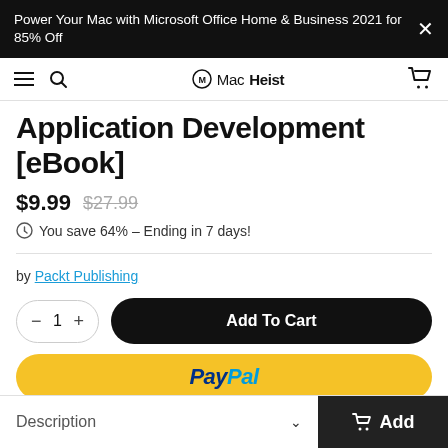Power Your Mac with Microsoft Office Home & Business 2021 for 85% Off
MacHeist
Application Development [eBook]
$9.99 $27.99
You save 64% – Ending in 7 days!
by Packt Publishing
1  Add To Cart
PayPal
Description
Add